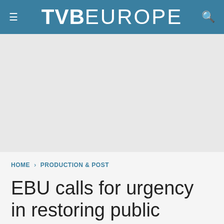TVB EUROPE
[Figure (other): Advertisement placeholder area, light gray background]
HOME › PRODUCTION & POST
EBU calls for urgency in restoring public service